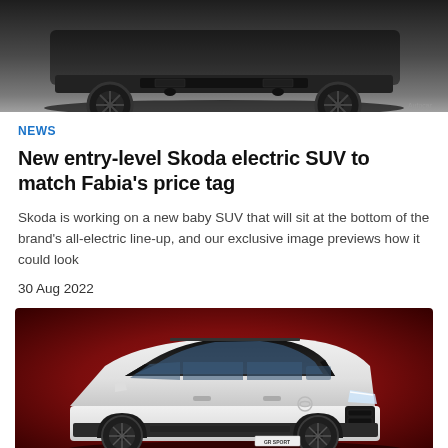[Figure (photo): Top portion of a dark-colored car (rear/bottom section visible), shown against a gray gradient background with a small watermark in the bottom right corner.]
NEWS
New entry-level Skoda electric SUV to match Fabia's price tag
Skoda is working on a new baby SUV that will sit at the bottom of the brand's all-electric line-up, and our exclusive image previews how it could look
30 Aug 2022
[Figure (photo): A white Toyota Yaris Cross / small SUV with black trim details, photographed against a deep red background. The car is shown in a three-quarter front view.]